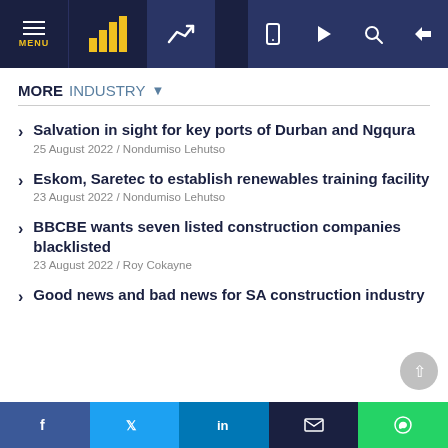MENU | navigation bar with logo, trend icon, mobile, play, search, login icons
MORE INDUSTRY
Salvation in sight for key ports of Durban and Ngqura
25 August 2022 / Nondumiso Lehutso
Eskom, Saretec to establish renewables training facility
23 August 2022 / Nondumiso Lehutso
BBCBE wants seven listed construction companies blacklisted
23 August 2022 / Roy Cokayne
Good news and bad news for SA construction industry
f  y  in  ✉  ©